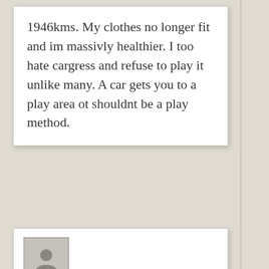1946kms. My clothes no longer fit and im massivly healthier. I too hate cargress and refuse to play it unlike many. A car gets you to a play area ot shouldnt be a play method.
[Figure (other): Partial view of a comment card with a user avatar placeholder (silhouette icon in gray box)]